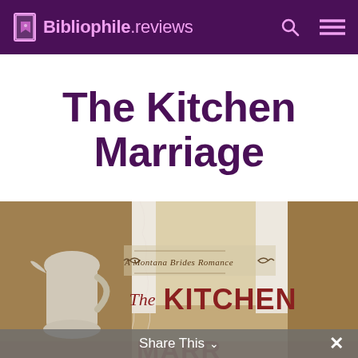Bibliophile.reviews
The Kitchen Marriage
[Figure (photo): Book cover for 'The Kitchen Marriage: A Montana Brides Romance' showing a vintage kitchen scene with a pitcher, lace curtains, and the book title in red text]
Share This